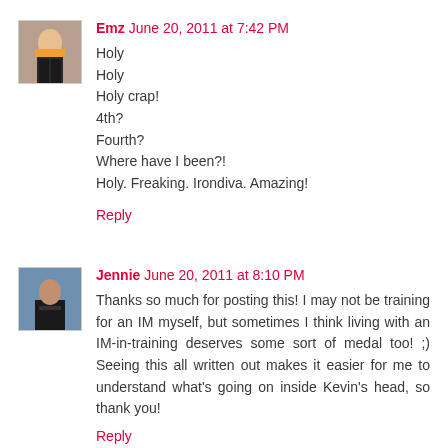[Figure (photo): Avatar photo of Emz, a person in athletic wear]
Emz  June 20, 2011 at 7:42 PM
Holy
Holy
Holy crap!
4th?
Fourth?
Where have I been?!
Holy. Freaking. Irondiva. Amazing!
Reply
[Figure (photo): Avatar photo of Jennie, a person near water]
Jennie  June 20, 2011 at 8:10 PM
Thanks so much for posting this! I may not be training for an IM myself, but sometimes I think living with an IM-in-training deserves some sort of medal too! ;) Seeing this all written out makes it easier for me to understand what's going on inside Kevin's head, so thank you!
Reply